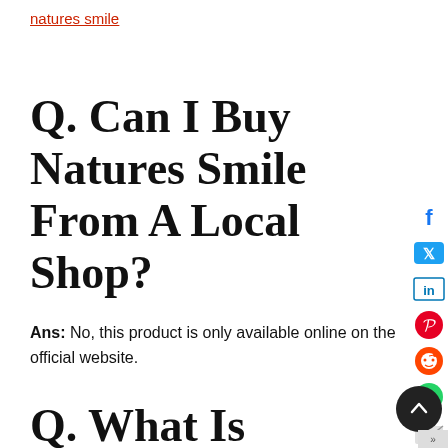natures smile
Q. Can I Buy Natures Smile From A Local Shop?
Ans: No, this product is only available online on the official website.
Q. What Is Nature's Smile Refund Policy?